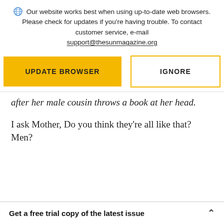Our website works best when using up-to-date web browsers. Please check for updates if you're having trouble. To contact customer service, e-mail support@thesunmagazine.org
[Figure (screenshot): Two buttons: a yellow filled button labeled UPDATE BROWSER and a yellow-outlined white button labeled IGNORE]
after her male cousin throws a book at her head.
I ask Mother, Do you think they're all like that? Men?
Get a free trial copy of the latest issue